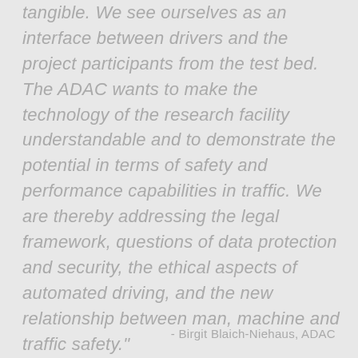tangible. We see ourselves as an interface between drivers and the project participants from the test bed. The ADAC wants to make the technology of the research facility understandable and to demonstrate the potential in terms of safety and performance capabilities in traffic. We are thereby addressing the legal framework, questions of data protection and security, the ethical aspects of automated driving, and the new relationship between man, machine and traffic safety."
- Birgit Blaich-Niehaus, ADAC